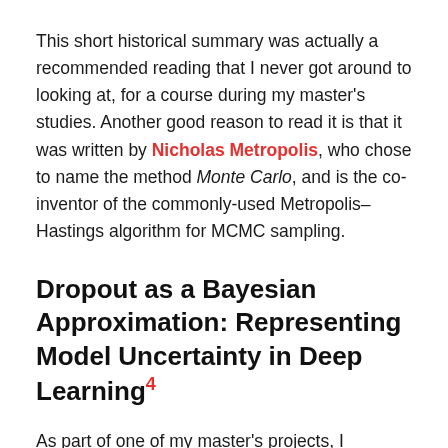This short historical summary was actually a recommended reading that I never got around to looking at, for a course during my master's studies. Another good reason to read it is that it was written by Nicholas Metropolis, who chose to name the method Monte Carlo, and is the co-inventor of the commonly-used Metropolis–Hastings algorithm for MCMC sampling.
Dropout as a Bayesian Approximation: Representing Model Uncertainty in Deep Learning[4]
As part of one of my master's projects, I explored Bayesian neural networks for uncertainty quantification, particularly on the task of time series anomaly detection.